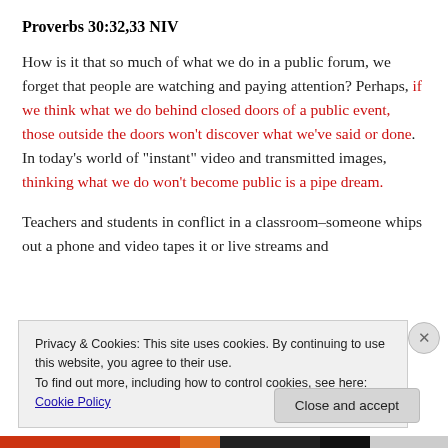Proverbs 30:32,33 NIV
How is it that so much of what we do in a public forum, we forget that people are watching and paying attention? Perhaps, if we think what we do behind closed doors of a public event, those outside the doors won't discover what we've said or done. In today's world of "instant" video and transmitted images, thinking what we do won't become public is a pipe dream.
Teachers and students in conflict in a classroom–someone whips out a phone and video tapes it or live streams and
Privacy & Cookies: This site uses cookies. By continuing to use this website, you agree to their use.
To find out more, including how to control cookies, see here: Cookie Policy
Close and accept